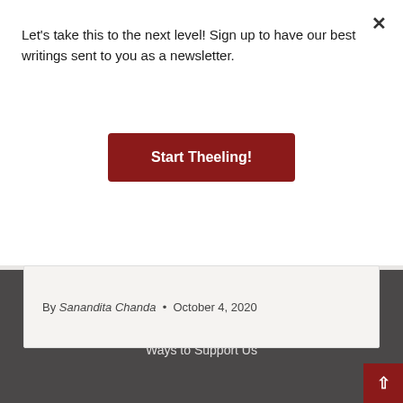Let's take this to the next level! Sign up to have our best writings sent to you as a newsletter.
Start Theeling!
By Sanandita Chanda • October 4, 2020
What We Are    Meet the Team    Write For Us    Ways to Support Us